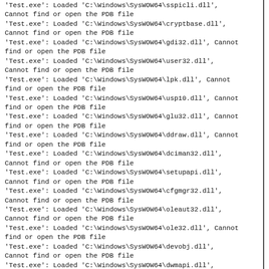'Test.exe': Loaded 'C:\Windows\SysWOW64\sspicli.dll', Cannot find or open the PDB file
'Test.exe': Loaded 'C:\Windows\SysWOW64\cryptbase.dll', Cannot find or open the PDB file
'Test.exe': Loaded 'C:\Windows\SysWOW64\gdi32.dll', Cannot find or open the PDB file
'Test.exe': Loaded 'C:\Windows\SysWOW64\user32.dll', Cannot find or open the PDB file
'Test.exe': Loaded 'C:\Windows\SysWOW64\lpk.dll', Cannot find or open the PDB file
'Test.exe': Loaded 'C:\Windows\SysWOW64\usp10.dll', Cannot find or open the PDB file
'Test.exe': Loaded 'C:\Windows\SysWOW64\glu32.dll', Cannot find or open the PDB file
'Test.exe': Loaded 'C:\Windows\SysWOW64\ddraw.dll', Cannot find or open the PDB file
'Test.exe': Loaded 'C:\Windows\SysWOW64\dciman32.dll', Cannot find or open the PDB file
'Test.exe': Loaded 'C:\Windows\SysWOW64\setupapi.dll', Cannot find or open the PDB file
'Test.exe': Loaded 'C:\Windows\SysWOW64\cfgmgr32.dll', Cannot find or open the PDB file
'Test.exe': Loaded 'C:\Windows\SysWOW64\oleaut32.dll', Cannot find or open the PDB file
'Test.exe': Loaded 'C:\Windows\SysWOW64\ole32.dll', Cannot find or open the PDB file
'Test.exe': Loaded 'C:\Windows\SysWOW64\devobj.dll', Cannot find or open the PDB file
'Test.exe': Loaded 'C:\Windows\SysWOW64\dwmapi.dll', Cannot find or open the PDB file
'Test.exe': Loaded 'C:\Program Files (x86)\Lua\5.1\lua51.dll', Binary was not built with debug information.
'Test.exe': Loaded 'C:\Program Files (x86)\Lua\5.1\lua5.1.dll', Binary was not built with debug information.
'Test.exe': Loaded 'C:\Windows\winsxs\x86_microsoft.vc80.crt_1fc8b3b9a1e18e3b_8.0.50727 Cannot find or open the PDB file
'Test.exe': Loaded 'C:\Windows\SysWOW64\ws2_32.dll', Cannot find or open the PDB file